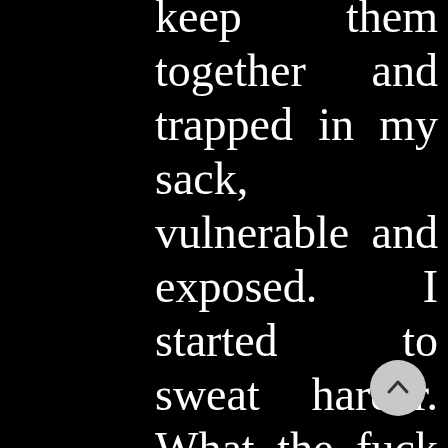keep them together and trapped in my sack, vulnerable and exposed. I started to sweat harder. What the fuck was I doing? Oh, god, I was trembling with nervousness. I heard Ann rise and start walking to the living room. The sound of those boots on the hardwood of the hall sent tremors of fear through me. I could hear